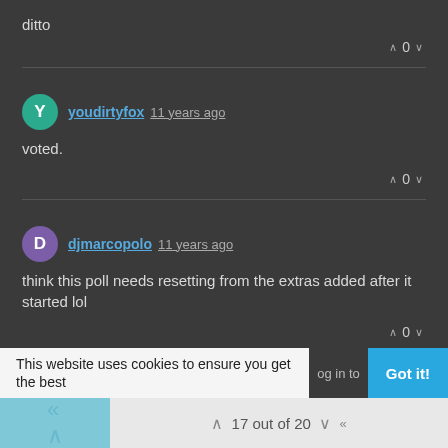ditto
∧ 0 ∨
youdirtyfox 11 years ago
voted.
∧ 0 ∨
djmarcopolo 11 years ago
think this poll needs resetting from the extras added after it started lol
∧ 0 ∨
This website uses cookies to ensure you get the best
Got it!
17 out of 20